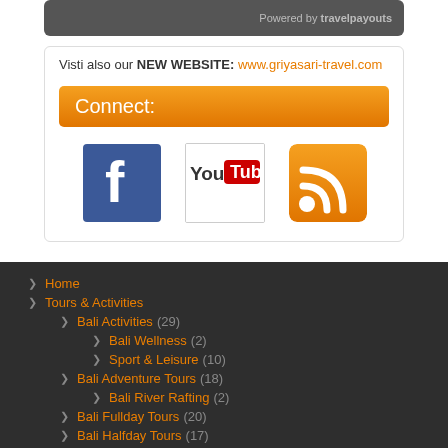Powered by travelpayouts
Visti also our NEW WEBSITE: www.griyasari-travel.com
Connect:
[Figure (logo): Facebook, YouTube, and RSS feed social media icons]
Home
Tours & Activities
Bali Activities (29)
Bali Wellness (2)
Sport & Leisure (10)
Bali Adventure Tours (18)
Bali River Rafting (2)
Bali Fullday Tours (20)
Bali Halfday Tours (17)